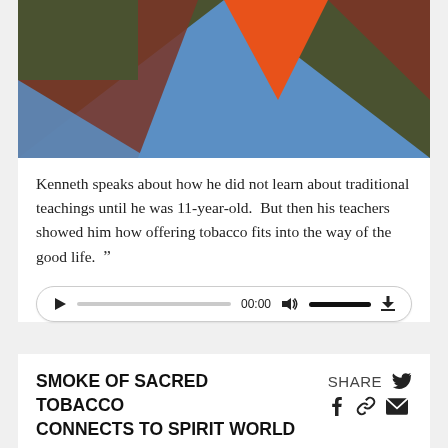[Figure (illustration): Abstract geometric illustration with overlapping triangles in olive green, dark red/brown, orange, and blue on a dark olive background]
Kenneth speaks about how he did not learn about traditional teachings until he was 11-year-old. But then his teachers showed him how offering tobacco fits into the way of the good life. ””
[Figure (other): Audio player widget with play button, progress bar showing 00:00, volume control, and download button]
SMOKE OF SACRED TOBACCO CONNECTS TO SPIRIT WORLD
SHARE